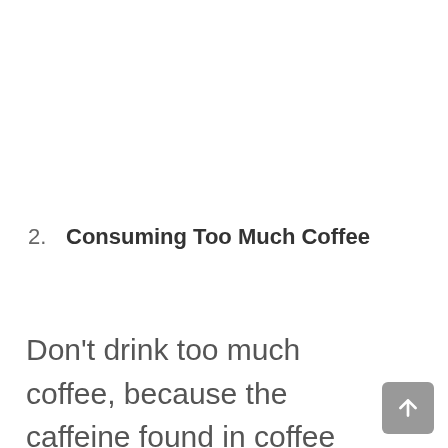2. Consuming Too Much Coffee
Don't drink too much coffee, because the caffeine found in coffee can damage your kidneys if it's in excessive